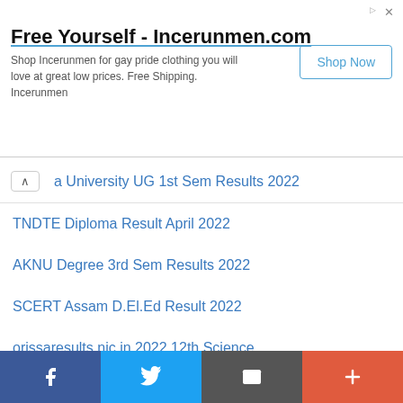[Figure (other): Advertisement banner for Incerunmen.com - Free Yourself tagline with Shop Now button]
a University UG 1st Sem Results 2022
TNDTE Diploma Result April 2022
AKNU Degree 3rd Sem Results 2022
SCERT Assam D.El.Ed Result 2022
orissaresults.nic.in 2022 12th Science
CHSE Odisha 12th Result 2022
CBSE Rechecking Form 2022 Class 10 & 12
UP Madarsa Board Result 2022
f | Twitter | Mail | +